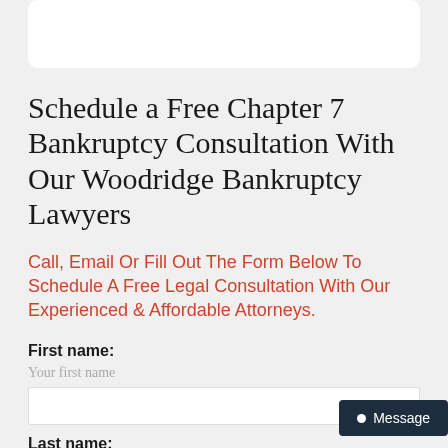Schedule a Free Chapter 7 Bankruptcy Consultation With Our Woodridge Bankruptcy Lawyers
Call, Email Or Fill Out The Form Below To Schedule A Free Legal Consultation With Our Experienced & Affordable Attorneys.
First name:
Your first name
Last name: